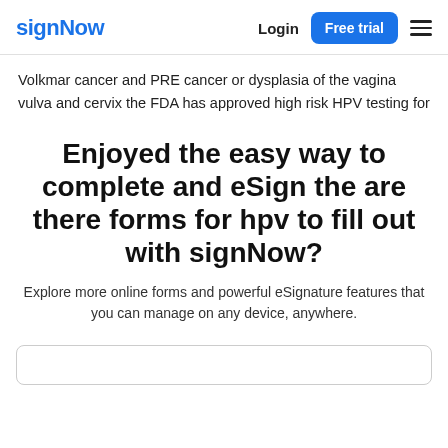signNow | Login | Free trial
Volkmar cancer and PRE cancer or dysplasia of the vagina vulva and cervix the FDA has approved high risk HPV testing for
Enjoyed the easy way to complete and eSign the are there forms for hpv to fill out with signNow?
Explore more online forms and powerful eSignature features that you can manage on any device, anywhere.